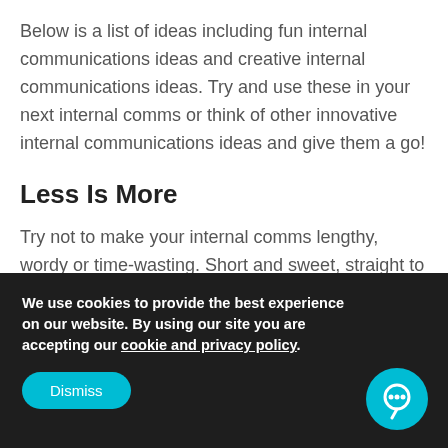Below is a list of ideas including fun internal communications ideas and creative internal communications ideas. Try and use these in your next internal comms or think of other innovative internal communications ideas and give them a go!
Less Is More
Try not to make your internal comms lengthy, wordy or time-wasting. Short and sweet, straight to the point works best for internal communications.
We use cookies to provide the best experience on our website. By using our site you are accepting our cookie and privacy policy.